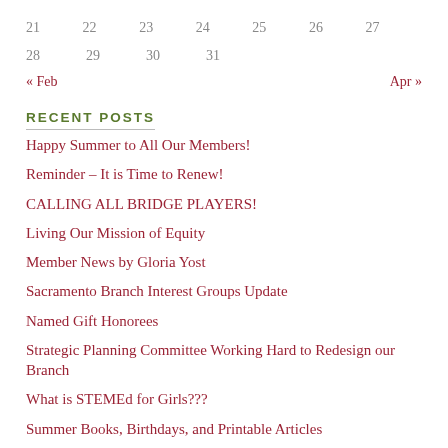21  22  23  24  25  26  27
28  29  30  31
« Feb    Apr »
RECENT POSTS
Happy Summer to All Our Members!
Reminder – It is Time to Renew!
CALLING ALL BRIDGE PLAYERS!
Living Our Mission of Equity
Member News by Gloria Yost
Sacramento Branch Interest Groups Update
Named Gift Honorees
Strategic Planning Committee Working Hard to Redesign our Branch
What is STEMEd for Girls???
Summer Books, Birthdays, and Printable Articles